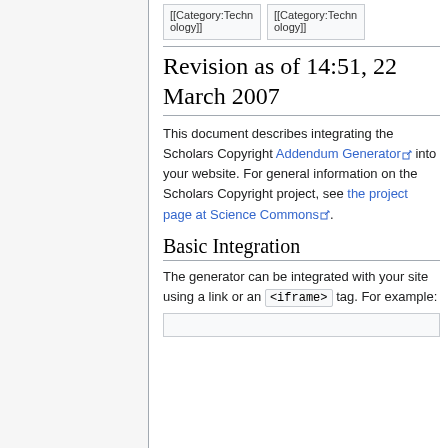[Figure (other): Two category tag boxes showing [[Category:Technology]] text]
Revision as of 14:51, 22 March 2007
This document describes integrating the Scholars Copyright Addendum Generator into your website. For general information on the Scholars Copyright project, see the project page at Science Commons.
Basic Integration
The generator can be integrated with your site using a link or an <iframe> tag. For example: